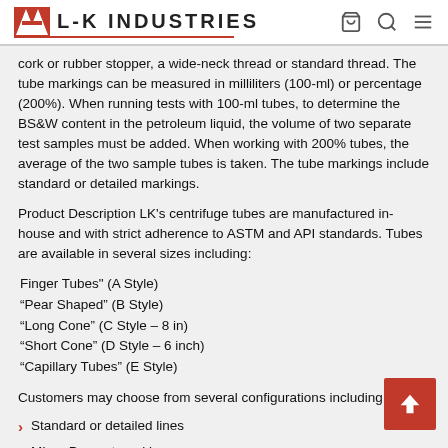L-K INDUSTRIES
cork or rubber stopper, a wide-neck thread or standard thread. The tube markings can be measured in milliliters (100-ml) or percentage (200%). When running tests with 100-ml tubes, to determine the BS&W content in the petroleum liquid, the volume of two separate test samples must be added. When working with 200% tubes, the average of the two sample tubes is taken. The tube markings include standard or detailed markings.
Product Description LK's centrifuge tubes are manufactured in-house and with strict adherence to ASTM and API standards. Tubes are available in several sizes including:
Finger Tubes" (A Style)
"Pear Shaped" (B Style)
"Long Cone" (C Style – 8 in)
"Short Cone" (D Style – 6 inch)
"Capillary Tubes" (E Style)
Customers may choose from several configurations including:
Standard or detailed lines
ML or Percent markings